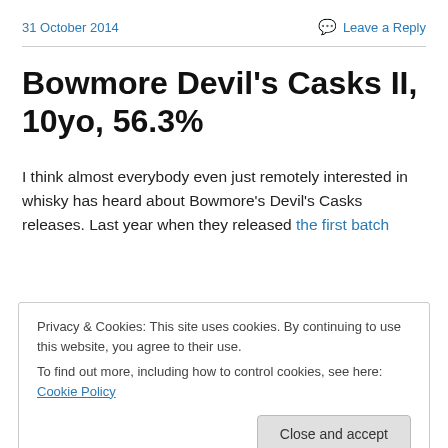31 October 2014
Bowmore Devil's Casks II, 10yo, 56.3%
I think almost everybody even just remotely interested in whisky has heard about Bowmore's Devil's Casks releases. Last year when they released the first batch
Privacy & Cookies: This site uses cookies. By continuing to use this website, you agree to their use. To find out more, including how to control cookies, see here: Cookie Policy
thanks to Billy, who managed to get one for me. Or at least